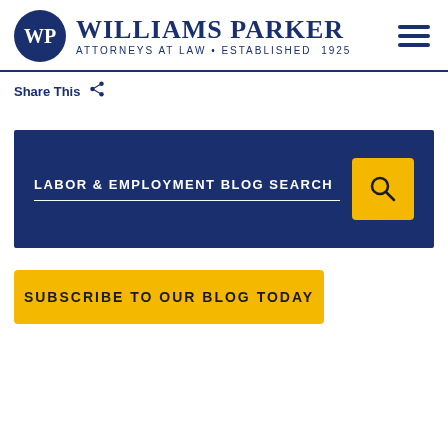[Figure (logo): Williams Parker Attorneys at Law Established 1925 logo with WP monogram in blue circle]
Share This
[Figure (infographic): Labor & Employment Blog Search bar with yellow search button on dark blue background]
SUBSCRIBE TO OUR BLOG TODAY